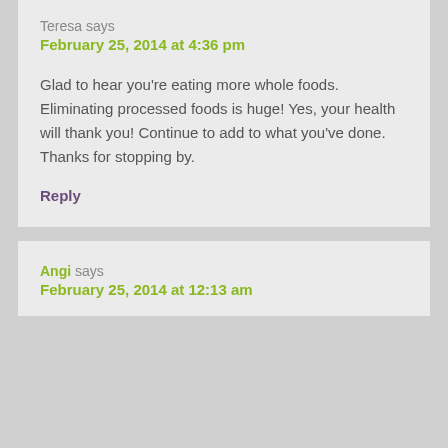Teresa says
February 25, 2014 at 4:36 pm
Glad to hear you're eating more whole foods. Eliminating processed foods is huge! Yes, your health will thank you! Continue to add to what you've done. Thanks for stopping by.
Reply
Angi says
February 25, 2014 at 12:13 am